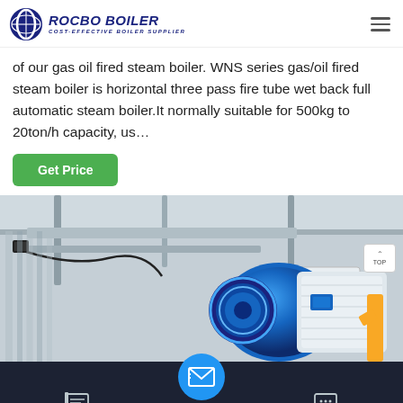ROCBO BOILER - COST-EFFECTIVE BOILER SUPPLIER
of our gas oil fired steam boiler. WNS series gas/oil fired steam boiler is horizontal three pass fire tube wet back full automatic steam boiler.It normally suitable for 500kg to 20ton/h capacity, us...
Get Price
[Figure (photo): Industrial boiler room showing a large blue cylindrical gas/oil fired steam boiler with blue burner head, metal framework, ceiling ducts, and yellow gas pipes. A 'TOP' navigation button is visible in the upper right of the image.]
Send Message | Inquiry Online